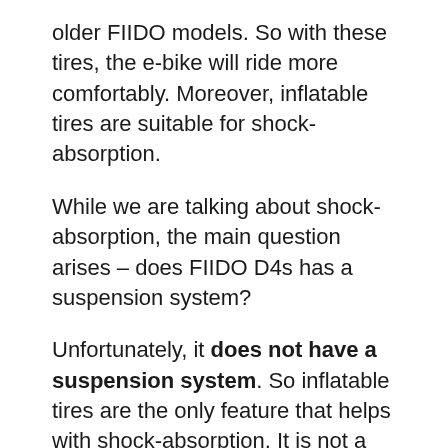older FIIDO models. So with these tires, the e-bike will ride more comfortably. Moreover, inflatable tires are suitable for shock-absorption.
While we are talking about shock-absorption, the main question arises – does FIIDO D4s has a suspension system?
Unfortunately, it does not have a suspension system. So inflatable tires are the only feature that helps with shock-absorption. It is not a surprise that FIIDO D4s has no suspension. In comparison, Xiaomi Himo C20 also does not have a suspension system.